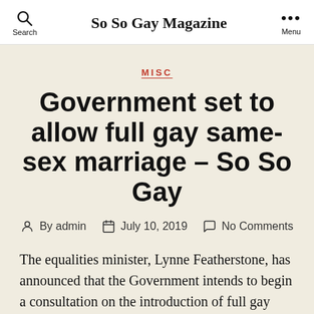So So Gay Magazine
MISC
Government set to allow full gay same-sex marriage – So So Gay
By admin  July 10, 2019  No Comments
The equalities minister, Lynne Featherstone, has announced that the Government intends to begin a consultation on the introduction of full gay marriage in England and Wales. The Government hopes to legislate